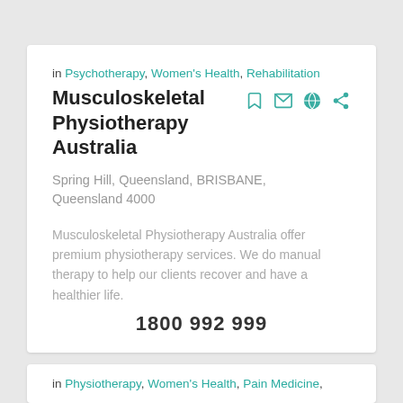in Psychotherapy, Women's Health, Rehabilitation
Musculoskeletal Physiotherapy Australia
Spring Hill, Queensland, BRISBANE, Queensland 4000
Musculoskeletal Physiotherapy Australia offer premium physiotherapy services. We do manual therapy to help our clients recover and have a healthier life.
1800 992 999
in Physiotherapy, Women's Health, Pain Medicine,